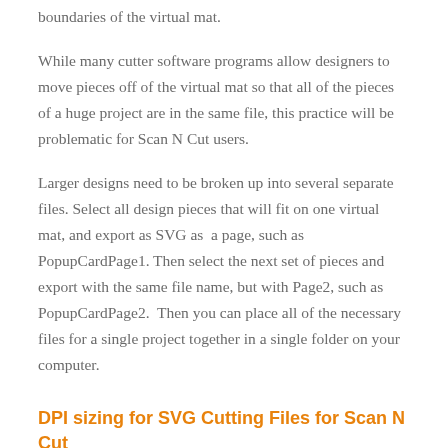boundaries of the virtual mat.
While many cutter software programs allow designers to move pieces off of the virtual mat so that all of the pieces of a huge project are in the same file, this practice will be problematic for Scan N Cut users.
Larger designs need to be broken up into several separate files. Select all design pieces that will fit on one virtual mat, and export as SVG as  a page, such as PopupCardPage1. Then select the next set of pieces and export with the same file name, but with Page2, such as PopupCardPage2.  Then you can place all of the necessary files for a single project together in a single folder on your computer.
DPI sizing for SVG Cutting Files for Scan N Cut